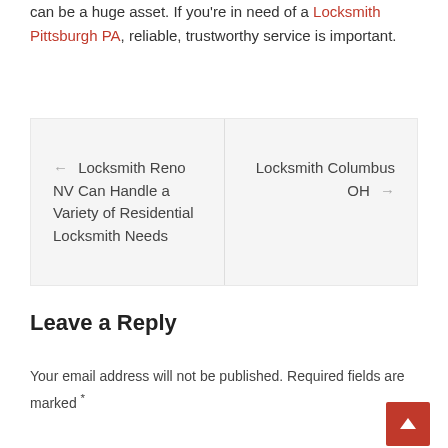can be a huge asset. If you're in need of a Locksmith Pittsburgh PA, reliable, trustworthy service is important.
← Locksmith Reno NV Can Handle a Variety of Residential Locksmith Needs   |   Locksmith Columbus OH →
Leave a Reply
Your email address will not be published. Required fields are marked *